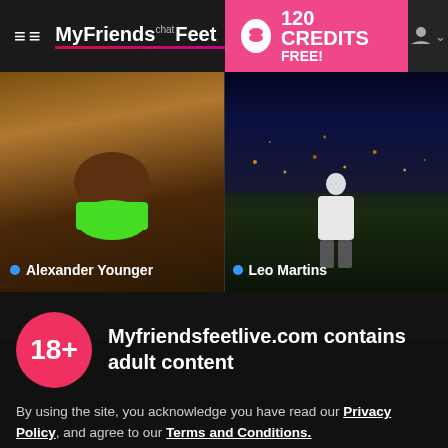MyFriendsFeet chat — 120 CREDITS FREE!
[Figure (screenshot): Two profile preview thumbnails: left shows Alexander Younger (person in green swimwear, dark background), right shows Leo Martins (person in white t-shirt against city/nature background). Both have blue online dots.]
Myfriendsfeetlive.com contains adult content
By using the site, you acknowledge you have read our Privacy Policy, and agree to our Terms and Conditions.
We use cookies to optimize your experience, analyze traffic, and deliver more personalized service. To learn more, please see our Privacy Policy.
I AGREE